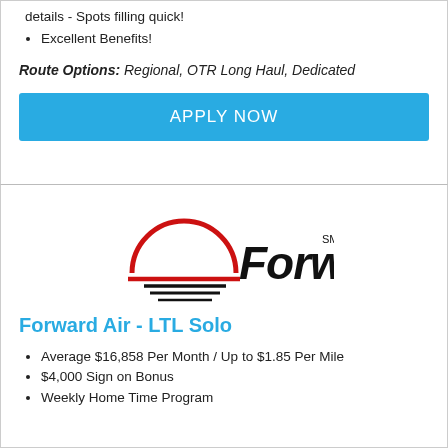details - Spots filling quick!
Excellent Benefits!
Route Options: Regional, OTR Long Haul, Dedicated
[Figure (other): APPLY NOW button in blue]
[Figure (logo): Forward Air company logo with red semicircle and black text]
Forward Air - LTL Solo
Average $16,858 Per Month / Up to $1.85 Per Mile
$4,000 Sign on Bonus
Weekly Home Time Program